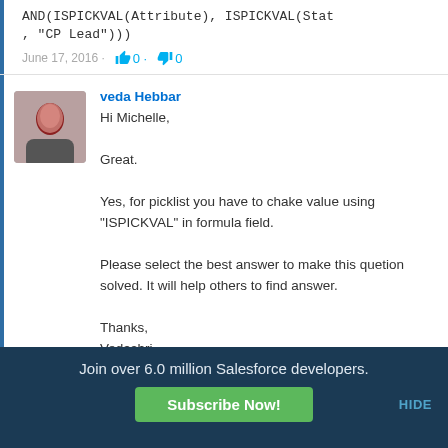AND(ISPICKVAL(Attribute), ISPICKVAL(Stat…, "CP Lead")))
June 17, 2016 · 👍 0 👎 0
veda Hebbar
Hi Michelle,

Great.

Yes, for picklist you have to chake value using "ISPICKVAL" in formula field.

Please select the best answer to make this quetion solved. It will help others to find answer.

Thanks,
Vedashri
Join over 6.0 million Salesforce developers.
Subscribe Now!
HIDE